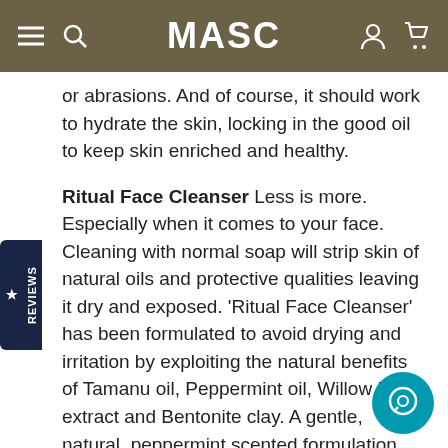MASC
or abrasions. And of course, it should work to hydrate the skin, locking in the good oil to keep skin enriched and healthy.
Ritual Face Cleanser Less is more. Especially when it comes to your face. Cleaning with normal soap will strip skin of natural oils and protective qualities leaving it dry and exposed. 'Ritual Face Cleanser' has been formulated to avoid drying and irritation by exploiting the natural benefits of Tamanu oil, Peppermint oil, Willow bark extract and Bentonite clay. A gentle, natural, peppermint scented formulation designed for everyday use 'Ritual' gently dissolves grime while toning the skin, leaving